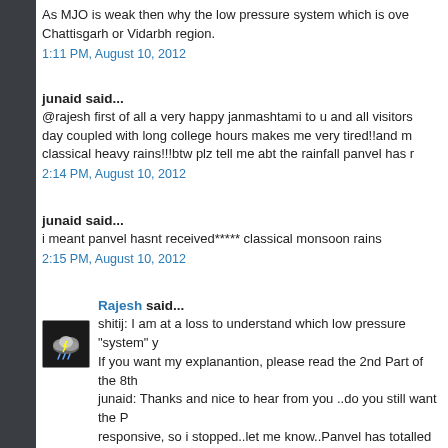As MJO is weak then why the low pressure system which is over Chattisgarh or Vidarbh region.
1:11 PM, August 10, 2012
junaid said...
@rajesh first of all a very happy janmashtami to u and all visitors day coupled with long college hours makes me very tired!!and m classical heavy rains!!!btw plz tell me abt the rainfall panvel has r
2:14 PM, August 10, 2012
junaid said...
i meant panvel hasnt received***** classical monsoon rains
2:15 PM, August 10, 2012
Rajesh said...
shitij: I am at a loss to understand which low pressure "system" y If you want my explanantion, please read the 2nd Part of the 8th junaid: Thanks and nice to hear from you ..do you still want the P responsive, so i stopped..let me know..Panvel has totalled 1263 r
3:48 PM, August 10, 2012
emkay said...